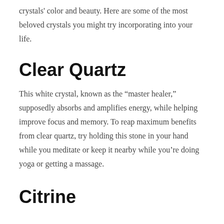crystals' color and beauty. Here are some of the most beloved crystals you might try incorporating into your life.
Clear Quartz
This white crystal, known as the “master healer,” supposedly absorbs and amplifies energy, while helping improve focus and memory. To reap maximum benefits from clear quartz, try holding this stone in your hand while you meditate or keep it nearby while you’re doing yoga or getting a massage.
Citrine